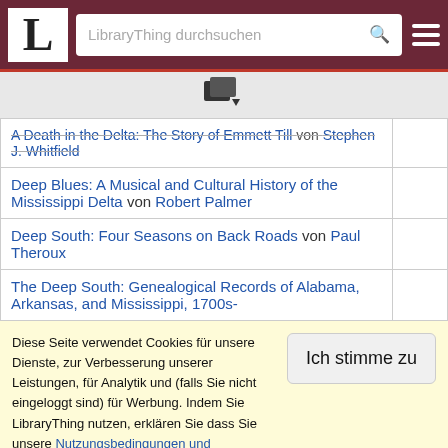LibraryThing durchsuchen
[Figure (illustration): Book/document icon with a small dropdown arrow]
| Titel |  |
| --- | --- |
| A Death in the Delta: The Story of Emmett Till von Stephen J. Whitfield |  |
| Deep Blues: A Musical and Cultural History of the Mississippi Delta von Robert Palmer |  |
| Deep South: Four Seasons on Back Roads von Paul Theroux |  |
| The Deep South: Genealogical Records of Alabama, Arkansas, and Mississippi, 1700s- |  |
Diese Seite verwendet Cookies für unsere Dienste, zur Verbesserung unserer Leistungen, für Analytik und (falls Sie nicht eingeloggt sind) für Werbung. Indem Sie LibraryThing nutzen, erklären Sie dass Sie unsere Nutzungsbedingungen und Datenschutzrichtlinie gelesen und verstanden haben. Die Nutzung unserer Webseite und Dienste unterliegt diesen Richtlinien und Geschäftsbedingungen.